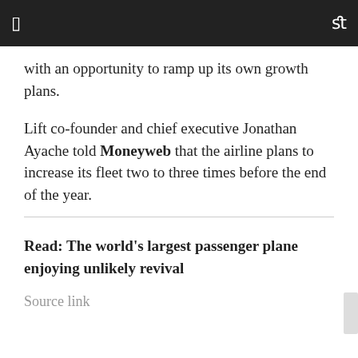with an opportunity to ramp up its own growth plans.
Lift co-founder and chief executive Jonathan Ayache told Moneyweb that the airline plans to increase its fleet two to three times before the end of the year.
Read: The world's largest passenger plane enjoying unlikely revival
Source link